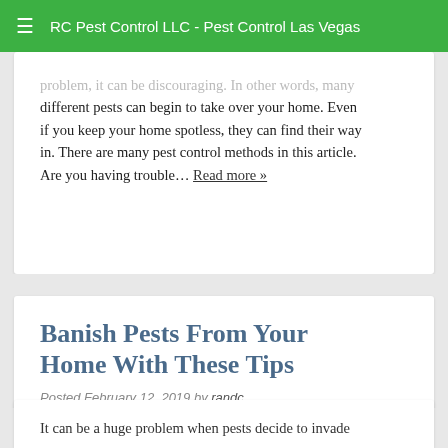RC Pest Control LLC - Pest Control Las Vegas
problem, it can be discouraging. In other words, many different pests can begin to take over your home. Even if you keep your home spotless, they can find their way in. There are many pest control methods in this article. Are you having trouble… Read more »
Banish Pests From Your Home With These Tips
Posted February 12, 2019 by randc
It can be a huge problem when pests decide to invade